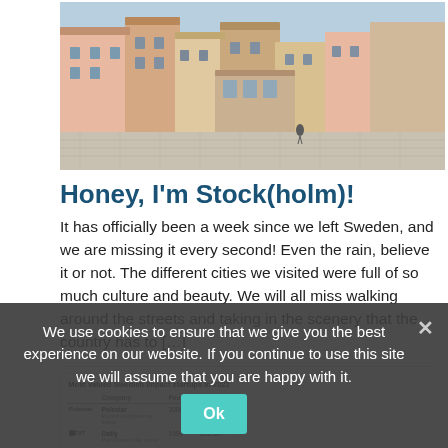[Figure (photo): Street photo showing colorful European-style buildings around a cobblestone town square in Stockholm, Sweden]
Honey, I'm Stock(holm)!
It has officially been a week since we left Sweden, and we are missing it every second! Even the rain, believe it or not. The different cities we visited were full of so much culture and beauty. We will all miss walking around the streets and taking in the scenery that the country has to […]
[Figure (table-as-image): Table showing Most valued Swedish impact startups in 2022 with columns Company, Founded, Valuation. Rows include Polestar, Oatly, Northvolt, Kry, Northvolt, Renewcell]
Swede Business Ideas
Sweden is becoming well known as an innovation powerhouse. But